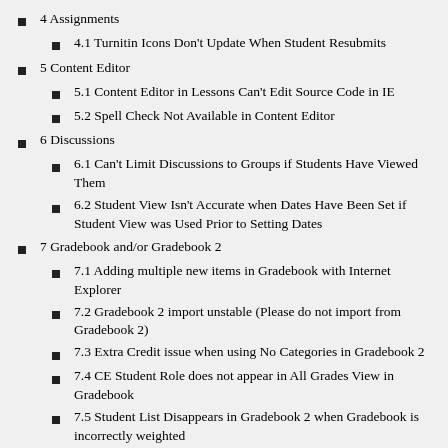4 Assignments
4.1 Turnitin Icons Don't Update When Student Resubmits
5 Content Editor
5.1 Content Editor in Lessons Can't Edit Source Code in IE
5.2 Spell Check Not Available in Content Editor
6 Discussions
6.1 Can't Limit Discussions to Groups if Students Have Viewed Them
6.2 Student View Isn't Accurate when Dates Have Been Set if Student View was Used Prior to Setting Dates
7 Gradebook and/or Gradebook 2
7.1 Adding multiple new items in Gradebook with Internet Explorer
7.2 Gradebook 2 import unstable (Please do not import from Gradebook 2)
7.3 Extra Credit issue when using No Categories in Gradebook 2
7.4 CE Student Role does not appear in All Grades View in Gradebook
7.5 Student List Disappears in Gradebook 2 when Gradebook is incorrectly weighted
7.6 Server 500 Error in Gradebook 2